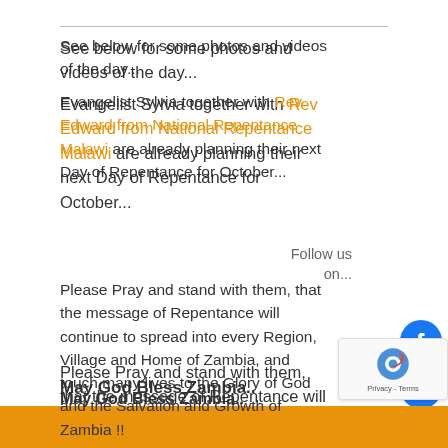See below for some photos and videos of the day...
Evangelist Sylvia together with Rev Edward from National Repentance Malawi are already planning their next Day of Repentance for October...
Please Pray and stand with them, that the message of Repentance will continue to spread into every Region, Village and Home of Zambia, and touch many lives to the Glory of God and the Salvation and Growth of Zambia !!
Follow us on...
May God Bless Zambia..
[Figure (infographic): Social media follow icons: four Facebook icons and one Facebook Messenger icon stacked vertically on right side]
[Figure (other): reCAPTCHA badge with Privacy and Terms text]
[Figure (other): Orange footer bar at bottom of page]